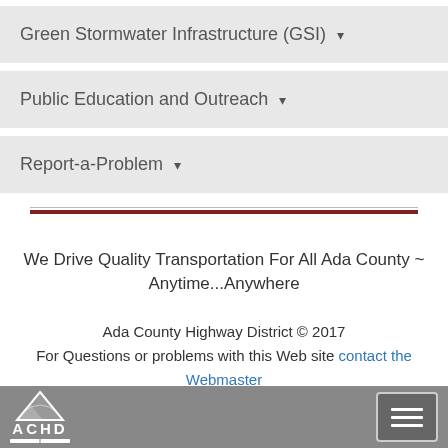Green Stormwater Infrastructure (GSI) ▾
Public Education and Outreach ▾
Report-a-Problem ▾
We Drive Quality Transportation For All Ada County ~ Anytime...Anywhere
Ada County Highway District © 2017
For Questions or problems with this Web site contact the Webmaster
Privacy Policy